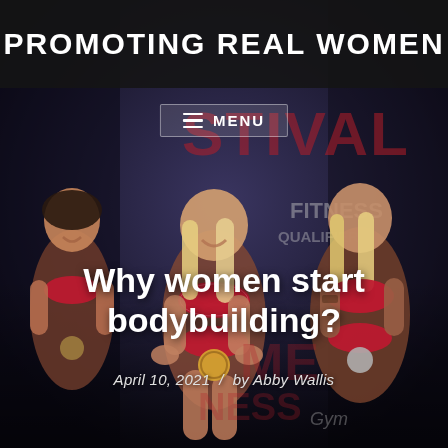[Figure (photo): Background photo of three female bodybuilders/fitness competitors on stage wearing sparkling red bikinis and medals, posed at a fitness competition with signage reading FESTIVAL, FITNESS, QUALIFIER in the background]
PROMOTING REAL WOMEN
≡ MENU
Why women start bodybuilding?
April 10, 2021  /  by Abby Wallis